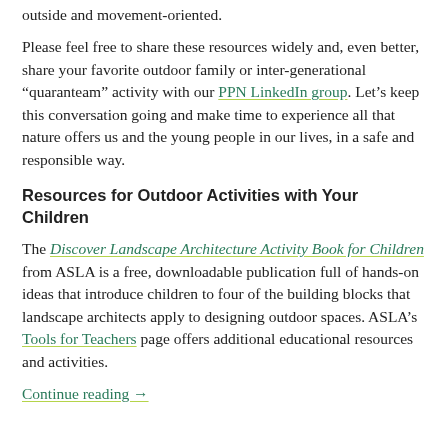outside and movement-oriented.
Please feel free to share these resources widely and, even better, share your favorite outdoor family or inter-generational “quaranteam” activity with our PPN LinkedIn group. Let’s keep this conversation going and make time to experience all that nature offers us and the young people in our lives, in a safe and responsible way.
Resources for Outdoor Activities with Your Children
The Discover Landscape Architecture Activity Book for Children from ASLA is a free, downloadable publication full of hands-on ideas that introduce children to four of the building blocks that landscape architects apply to designing outdoor spaces. ASLA’s Tools for Teachers page offers additional educational resources and activities.
Continue reading →